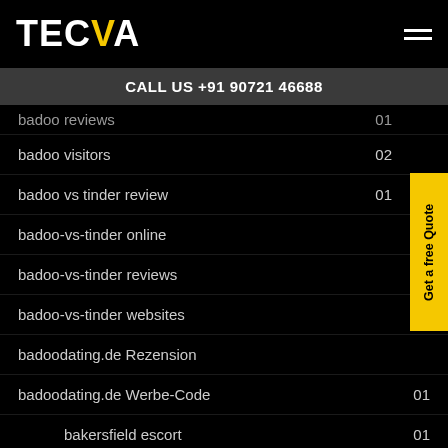TECVA
CALL US +91 90721 46688
badoo reviews   01
badoo visitors   02
badoo vs tinder review   01
badoo-vs-tinder online
badoo-vs-tinder reviews
badoo-vs-tinder websites
badoodating.de Rezension
badoodating.de Werbe-Code   01
bakersfield escort   01
bakersfield escort index   01